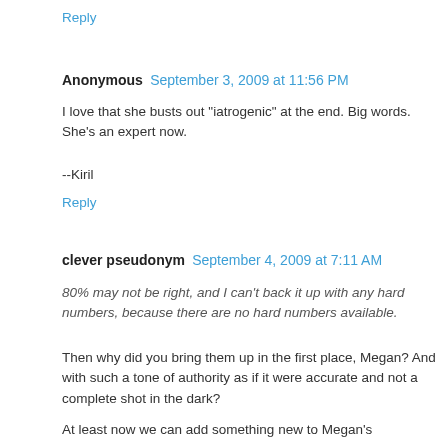Reply
Anonymous  September 3, 2009 at 11:56 PM
I love that she busts out "iatrogenic" at the end. Big words. She's an expert now.
--Kiril
Reply
clever pseudonym  September 4, 2009 at 7:11 AM
80% may not be right, and I can't back it up with any hard numbers, because there are no hard numbers available.
Then why did you bring them up in the first place, Megan? And with such a tone of authority as if it were accurate and not a complete shot in the dark?
At least now we can add something new to Megan's